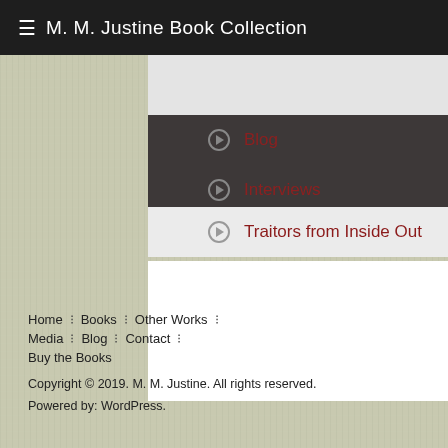≡ M. M. Justine Book Collection
Blog
Interviews
Traitors from Inside Out
Home : Books : Other Works : Media : Blog : Contact : Buy the Books
Copyright © 2019. M. M. Justine. All rights reserved.
Powered by: WordPress.